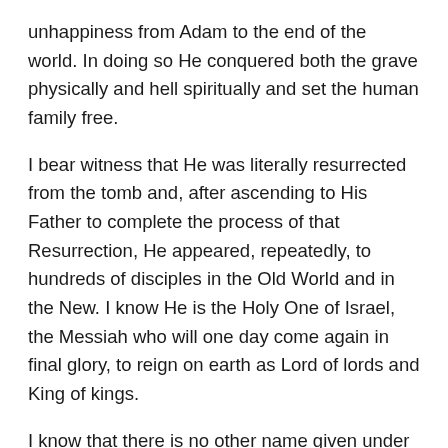unhappiness from Adam to the end of the world. In doing so He conquered both the grave physically and hell spiritually and set the human family free.
I bear witness that He was literally resurrected from the tomb and, after ascending to His Father to complete the process of that Resurrection, He appeared, repeatedly, to hundreds of disciples in the Old World and in the New. I know He is the Holy One of Israel, the Messiah who will one day come again in final glory, to reign on earth as Lord of lords and King of kings.
I know that there is no other name given under heaven whereby a man can be saved and that only by relying wholly upon His merits, mercy, and everlasting grace can we gain eternal life.